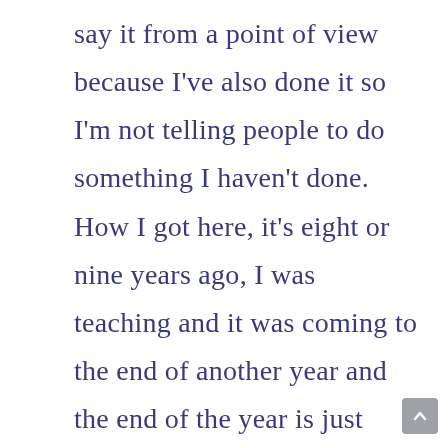say it from a point of view because I've also done it so I'm not telling people to do something I haven't done. How I got here, it's eight or nine years ago, I was teaching and it was coming to the end of another year and the end of the year is just always tiring and challenging because big emotionally for children moving on and all those sorts of things but basically, what had happened is, I was exercising and enjoying life and things like that but I